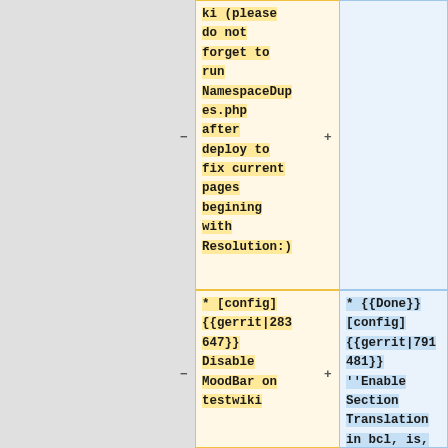ki (please do not forget to run NamespaceDupes.php after deploy to fix current pages begining with Resolution:)
* [config] {{gerrit|283647}} Disable MoodBar on testwiki
* {{Done}} [config] {{gerrit|791481}} ''Enable Section Translation in bcl, is,